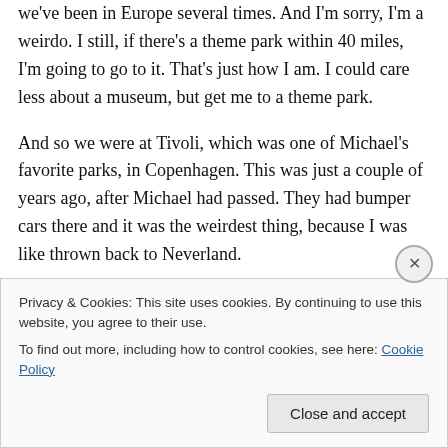we've been in Europe several times. And I'm sorry, I'm a weirdo. I still, if there's a theme park within 40 miles, I'm going to go to it. That's just how I am. I could care less about a museum, but get me to a theme park.
And so we were at Tivoli, which was one of Michael's favorite parks, in Copenhagen. This was just a couple of years ago, after Michael had passed. They had bumper cars there and it was the weirdest thing, because I was like thrown back to Neverland.
In Europe, and I'm not trying to stereotype, but there are
Privacy & Cookies: This site uses cookies. By continuing to use this website, you agree to their use.
To find out more, including how to control cookies, see here: Cookie Policy